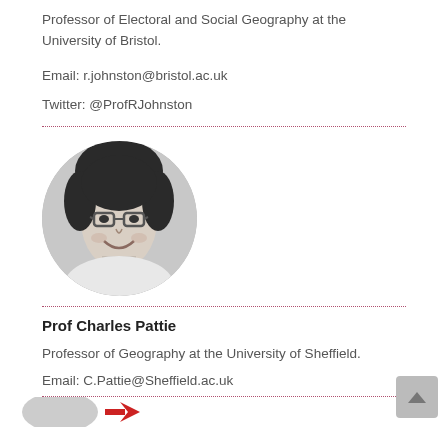Professor of Electoral and Social Geography at the University of Bristol.
Email: r.johnston@bristol.ac.uk
Twitter: @ProfRJohnston
[Figure (photo): Black and white circular portrait photo of a man with glasses and curly hair, smiling.]
Prof Charles Pattie
Professor of Geography at the University of Sheffield.
Email: C.Pattie@Sheffield.ac.uk